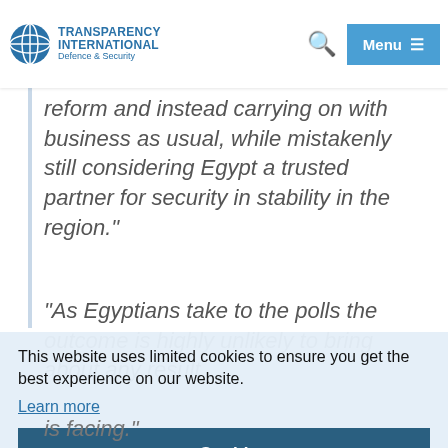Transparency International Defence & Security
could do much to influence this situation, meanwhile failing to demand reform and instead carrying on with business as usual, while mistakenly still considering Egypt a trusted partner for security in stability in the region."
"As Egyptians take to the polls the outcome is highly unlikely to bring about any result
This website uses limited cookies to ensure you get the best experience on our website.
Learn more
Got it!
is facing."